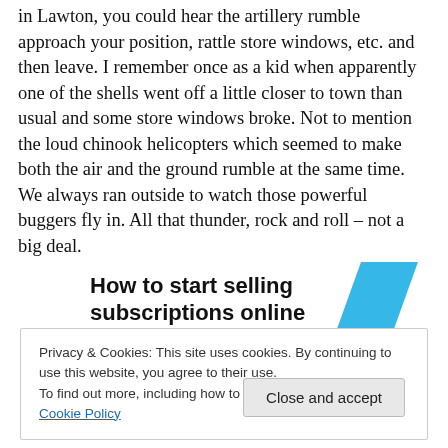in Lawton, you could hear the artillery rumble approach your position, rattle store windows, etc. and then leave.  I remember once as a kid when apparently one of the shells went off a little closer to town than usual and some store windows broke.  Not to mention the loud chinook helicopters which seemed to make both the air and the ground rumble at the same time.  We always ran outside to watch those powerful buggers fly in.  All that thunder, rock and roll – not a big deal.
[Figure (other): Advertisement banner with bold text 'How to start selling subscriptions online' and a blue rhombus/parallelogram shape on the right]
Privacy & Cookies: This site uses cookies. By continuing to use this website, you agree to their use.
To find out more, including how to control cookies, see here: Cookie Policy